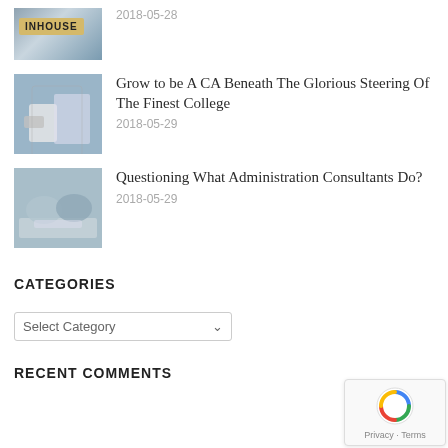[Figure (photo): Image with INHOUSE sign on a post against a sky background]
2018-05-28
[Figure (photo): Person using a smartphone and tablet at a desk with financial documents]
Grow to be A CA Beneath The Glorious Steering Of The Finest College
2018-05-29
[Figure (photo): Two people shaking hands over documents on a table]
Questioning What Administration Consultants Do?
2018-05-29
CATEGORIES
Select Category
RECENT COMMENTS
[Figure (logo): reCAPTCHA badge with Privacy and Terms links]